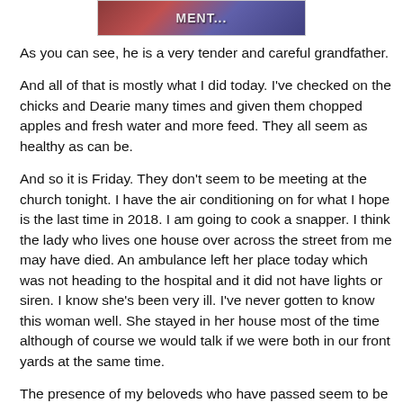[Figure (photo): Partial photo at top of page showing colorful image with text partially visible reading 'MENT...']
As you can see, he is a very tender and careful grandfather.
And all of that is mostly what I did today. I've checked on the chicks and Dearie many times and given them chopped apples and fresh water and more feed. They all seem as healthy as can be.
And so it is Friday. They don't seem to be meeting at the church tonight. I have the air conditioning on for what I hope is the last time in 2018. I am going to cook a snapper. I think the lady who lives one house over across the street from me may have died. An ambulance left her place today which was not heading to the hospital and it did not have lights or siren. I know she's been very ill. I've never gotten to know this woman well. She stayed in her house most of the time although of course we would talk if we were both in our front yards at the same time.
The presence of my beloveds who have passed seem to be close lately. I wonder if it's due to the proximity of Day of the